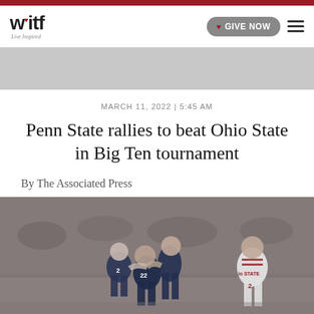witf - Live Inspired
MARCH 11, 2022 | 5:45 AM
Penn State rallies to beat Ohio State in Big Ten tournament
By The Associated Press
[Figure (photo): Basketball players from Penn State (dark uniforms, numbers 2 and 22) celebrating on court, with an Ohio State player (red and white uniform, number 2) standing apart in the background]